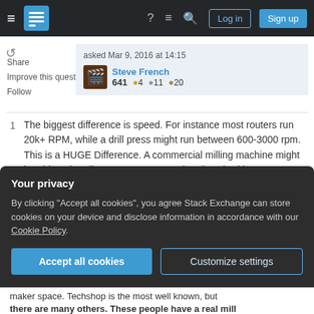Stack Exchange navigation bar with Log in and Sign up buttons
Share
Improve this question
Follow
asked Mar 9, 2016 at 14:15
Steve French
641 ●4 ●11 ●20
1  The biggest difference is speed. For instance most routers run 20k+ RPM, while a drill press might run between 600-3000 rpm. This is a HUGE Difference. A commercial milling machine might be able to handle 4000rpm or more, but does it with a mechanically moved milling bed, a vice and a 6-7hp motor. This has 'bad idea' written all over it. – BrownRedHawk Mar 9, 2016 at 16:24
Your privacy
By clicking "Accept all cookies", you agree Stack Exchange can store cookies on your device and disclose information in accordance with our Cookie Policy.
Accept all cookies
Customize settings
maker space. Techshop is the most well known, but there are many others. These people have a real mill